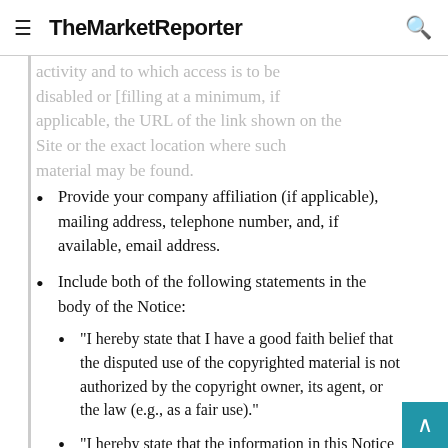TheMarketReporter
activity and to which access is to be disabled or [filling at a minimum, if applicable, the URL of the link shown on the Site or the exact location where such material may be found.
Provide your company affiliation (if applicable), mailing address, telephone number, and, if available, email address.
Include both of the following statements in the body of the Notice:
“I hereby state that I have a good faith belief that the disputed use of the copyrighted material is not authorized by the copyright owner, its agent, or the law (e.g., as a fair use).”
“I hereby state that the information in this Notice is accurate and ...